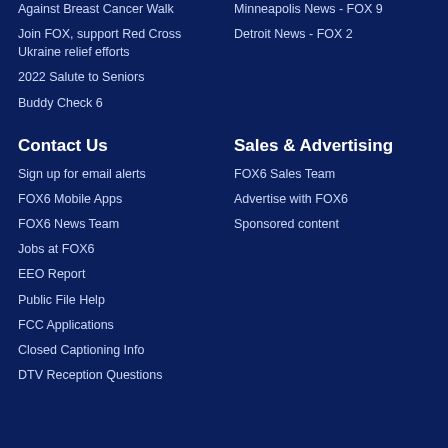Against Breast Cancer Walk
Join FOX, support Red Cross Ukraine relief efforts
2022 Salute to Seniors
Buddy Check 6
Minneapolis News - FOX 9
Detroit News - FOX 2
Contact Us
Sign up for email alerts
FOX6 Mobile Apps
FOX6 News Team
Jobs at FOX6
EEO Report
Public File Help
FCC Applications
Closed Captioning Info
DTV Reception Questions
Sales & Advertising
FOX6 Sales Team
Advertise with FOX6
Sponsored content